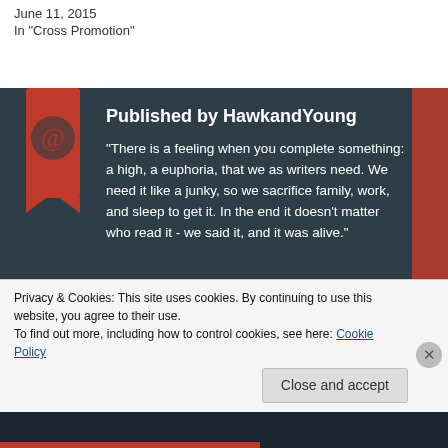In "Cross Promotion"
[Figure (illustration): Red ribbon/bookmark icon with a circular emblem on dark teal background, author bio section for HawkandYoung]
Published by HawkandYoung
"There is a feeling when you complete something: a high, a euphoria, that we as writers need. We need it like a junky, so we sacrifice family, work, and sleep to get it. In the end it doesn't matter who read it - we said it, and it was alive."
View all posts by HawkandYoung
Privacy & Cookies: This site uses cookies. By continuing to use this website, you agree to their use.
To find out more, including how to control cookies, see here: Cookie Policy
Close and accept